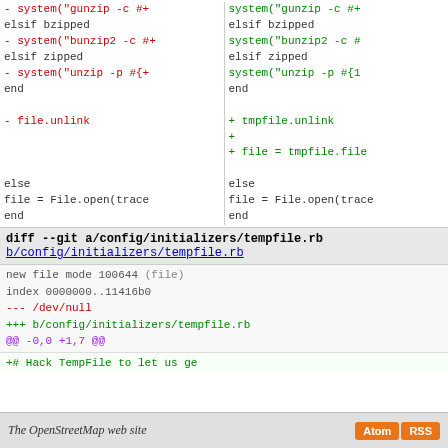[Figure (screenshot): A diff view showing two columns of code changes. Left column shows removed lines in red and unchanged lines in black. Right column shows added lines in green and unchanged lines in black. Code includes Ruby file operations with gunzip, bunzip2, unzip, file.unlink, tmpfile.unlink, File.open operations.]
diff --git a/config/initializers/tempfile.rb b/config/initializers/tempfile.rb
new file mode 100644 (file)
index 0000000..11416b0
--- /dev/null
+++ b/config/initializers/tempfile.rb
@@ -0,0 +1,7 @@
+# Hack TempFile to let us ge
+# does a half assed job of r
+class Tempfile
+  def file
+    return @tmpfile
+  end
+end
The OpenStreetMap web site